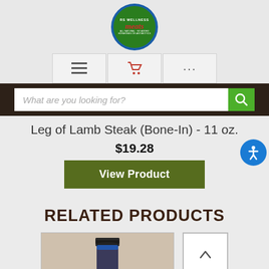[Figure (logo): RS Wellness Meats circular logo with green background and red italic 'meats' text]
[Figure (screenshot): Navigation icon bar with hamburger menu, shopping cart, and ellipsis icons]
[Figure (screenshot): Search bar with placeholder text 'What are you looking for?' and green search button]
Leg of Lamb Steak (Bone-In) - 11 oz.
$19.28
View Product
RELATED PRODUCTS
[Figure (photo): Product photo showing a jar/container with dark lid against light background]